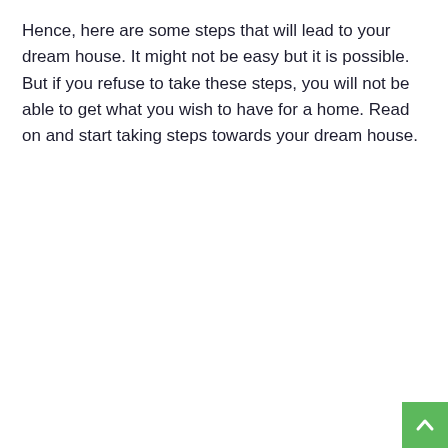Hence, here are some steps that will lead to your dream house. It might not be easy but it is possible. But if you refuse to take these steps, you will not be able to get what you wish to have for a home. Read on and start taking steps towards your dream house.